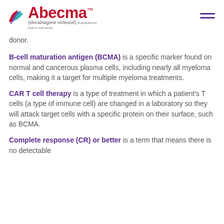[Figure (logo): Abecma (idecabtagene vicleucel) suspension for IV infusion logo with colorful bird icon]
donor.
B-cell maturation antigen (BCMA) is a specific marker found on normal and cancerous plasma cells, including nearly all myeloma cells, making it a target for multiple myeloma treatments.
CAR T cell therapy is a type of treatment in which a patient's T cells (a type of immune cell) are changed in a laboratory so they will attack target cells with a specific protein on their surface, such as BCMA.
Complete response (CR) or better is a term that means there is no detectable